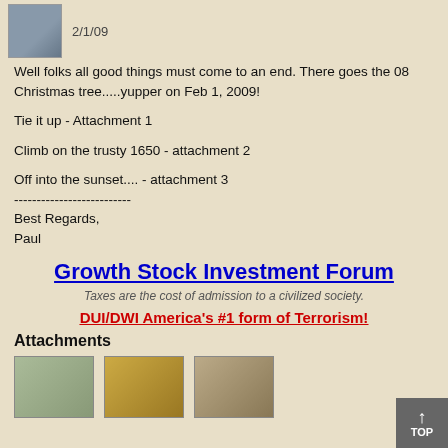2/1/09
Well folks all good things must come to an end. There goes the 08 Christmas tree.....yupper on Feb 1, 2009!
Tie it up - Attachment 1
Climb on the trusty 1650  - attachment 2
Off into the sunset.... - attachment 3
--------------------------
Best Regards,
Paul
Growth Stock Investment Forum
Taxes are the cost of admission to a civilized society.
DUI/DWI America's #1 form of Terrorism!
Attachments
[Figure (photo): Thumbnail photo 1 - outdoor winter scene with equipment]
[Figure (photo): Thumbnail photo 2 - yellow equipment in snow]
[Figure (photo): Thumbnail photo 3 - equipment in snowy outdoor scene]